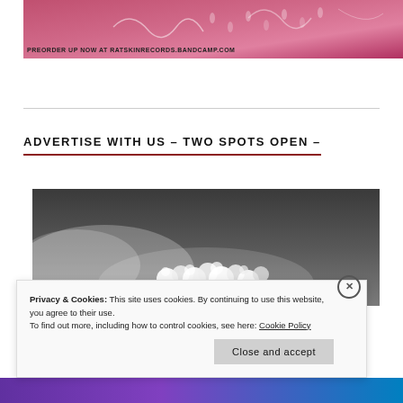[Figure (photo): Pink/red abstract or floral background image with white line art overlaid. Text at bottom reads: PREORDER UP NOW AT RATSKINRECORDS.BANDCAMP.COM]
ADVERTISE WITH US – TWO SPOTS OPEN –
[Figure (photo): Black and white photograph of white flowers/blossoms against a dark cloudy sky]
Privacy & Cookies: This site uses cookies. By continuing to use this website, you agree to their use.
To find out more, including how to control cookies, see here: Cookie Policy
Close and accept